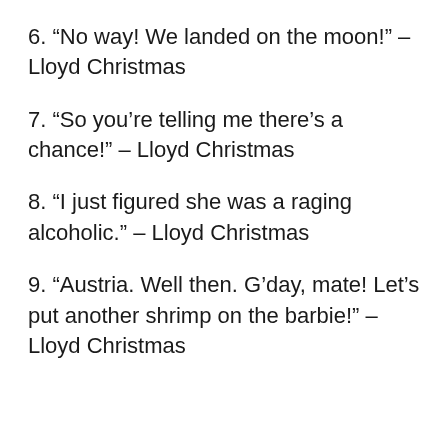6. “No way! We landed on the moon!” – Lloyd Christmas
7. “So you’re telling me there’s a chance!” – Lloyd Christmas
8. “I just figured she was a raging alcoholic.” – Lloyd Christmas
9. “Austria. Well then. G’day, mate! Let’s put another shrimp on the barbie!” – Lloyd Christmas